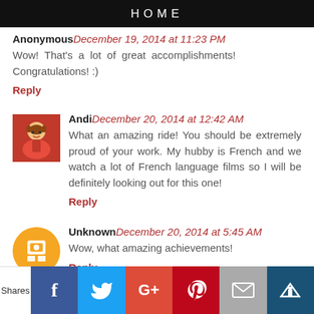HOME
Anonymous December 19, 2014 at 11:23 PM
Wow! That's a lot of great accomplishments! Congratulations! :)
Reply
[Figure (photo): Avatar image of Andi - cartoon character in red]
Andi December 20, 2014 at 12:42 AM
What an amazing ride! You should be extremely proud of your work. My hubby is French and we watch a lot of French language films so I will be definitely looking out for this one!
Reply
[Figure (logo): Blogger orange circle icon for Unknown user]
Unknown December 20, 2014 at 5:45 AM
Wow, what amazing achievements!
Reply